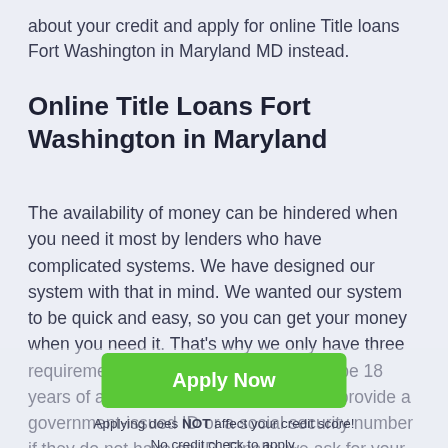about your credit and apply for online Title loans Fort Washington in Maryland MD instead.
Online Title Loans Fort Washington in Maryland
The availability of money can be hindered when you need it most by lenders who have complicated systems. We have designed our system with that in mind. We wanted our system to be quick and easy, so you can get your money when you need it. That's why we only have three requirements. First, our borrowers must be 18 years of age. Next, our borrower's must provide a government-issued ID or a social security number if they do not have an ID. Finally, we ask for your banking information so we can efficiently transfer your loaned money directly to your account. Our aim is to make the borrowing process as convenient and straightforward as possible.
Apply Now
Applying does NOT affect your credit score!
No credit check to apply.